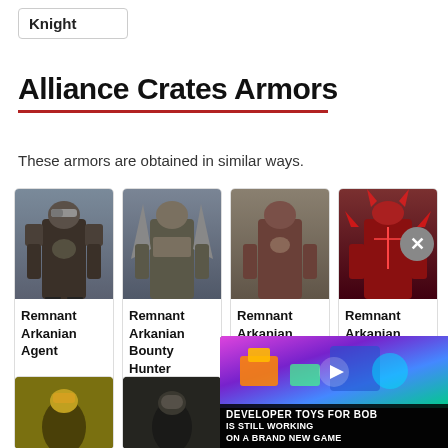Knight
Alliance Crates Armors
These armors are obtained in similar ways.
[Figure (illustration): Four game character cards showing armored figures: Remnant Arkanian Agent, Remnant Arkanian Bounty Hunter, Remnant Arkanian (third), Remnant Arkanian (fourth, red armor)]
[Figure (screenshot): Partial video advertisement overlay: 'DEVELOPER TOYS FOR BOB IS STILL WORKING ON A BRAND NEW GAME' with colorful game graphics background and play button]
[Figure (illustration): Two partial character card images in bottom row]